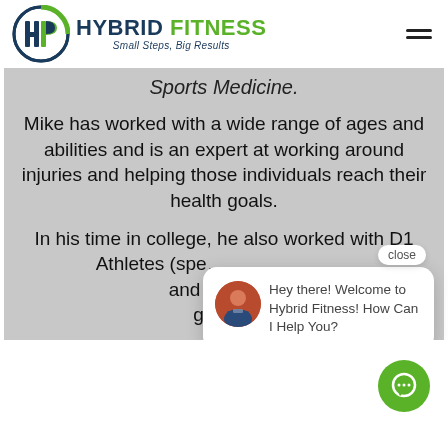[Figure (logo): Hybrid Fitness logo with circular HF icon and tagline 'Small Steps, Big Results']
Sports Medicine.
Mike has worked with a wide range of ages and abilities and is an expert at working around injuries and helping those individuals reach their health goals.
In his time in college, he also worked with D1 Athletes (spe... and Wome... get stro...
[Figure (screenshot): Chat popup overlay with avatar photo, close button, and message: Hey there! Welcome to Hybrid Fitness! How Can I Help You?]